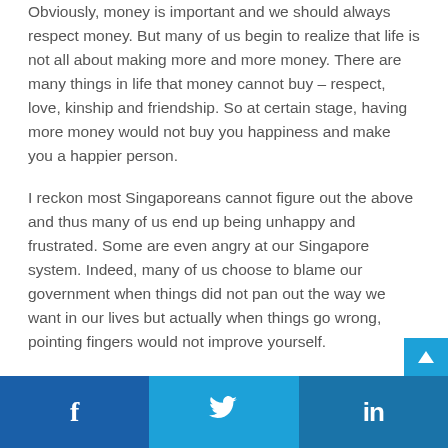Obviously, money is important and we should always respect money. But many of us begin to realize that life is not all about making more and more money. There are many things in life that money cannot buy – respect, love, kinship and friendship. So at certain stage, having more money would not buy you happiness and make you a happier person.
I reckon most Singaporeans cannot figure out the above and thus many of us end up being unhappy and frustrated. Some are even angry at our Singapore system. Indeed, many of us choose to blame our government when things did not pan out the way we want in our lives but actually when things go wrong, pointing fingers would not improve yourself.
With a negative mindset, you will probably end up even more negative and unhappy. Sometimes, you might even
Read more
f  (Twitter bird icon)  in